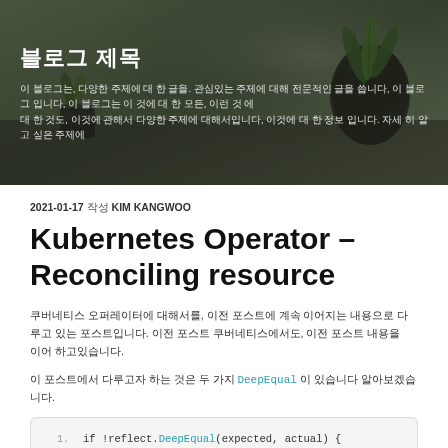[Figure (photo): Hero banner with a blurred photo of a desk with plants in pots, dark overlay, Korean blog title and subtitle text in white]
블로그 제목
이 블로그는, 다양한 주제에 대 한 글을. 관심있는 주제에 대해 전문적인 글을 씁니다, 이 블로그 입니다, 이 블로그는 이 것에 대 한 모든, 이런 것 에 대 한 것도, 이것에 관해서 다양한 주제에 대해서입니다, 이것에 대 한 정보 입니다. 자세 히 알 고 싶은 주제에
2021-01-17 작성 KIM KANGWOO
Kubernetes Operator – Reconciling resource
쿠버네티스 오퍼레이터에 대해서를, 이전 포스트에 계속 이어지는 내용으로 다루고 있는 포스트입니다. 이전 포스트 쿠버네티스에서도, 이전 포스트 내용을 이어 하고있습니다.
이 포스트에서 다루고자 하는 것은 두 가지 DeepEqual 이 있습니다 알아보겠습니다.
if !reflect.DeepEqual(expected, actual) {
    // need to update....
}
이전 포스트 쿠버네티스 에서는, 쿠버네티스 오퍼레 이터 작성하는 방법의 기초에 대해서 설명 했고 이 에 대한 더 자세한 내용